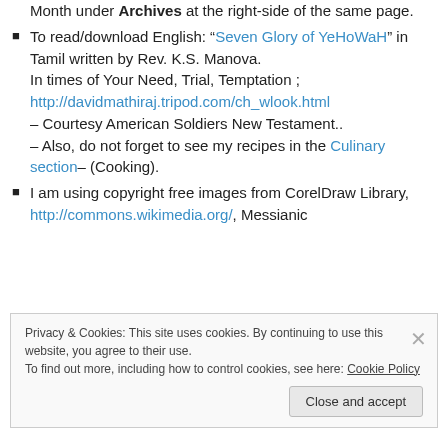Month under Archives at the right-side of the same page.
To read/download English: “Seven Glory of YeHoWaH” in Tamil written by Rev. K.S. Manova.
In times of Your Need, Trial, Temptation ;
http://davidmathiraj.tripod.com/ch_wlook.html
– Courtesy American Soldiers New Testament..
– Also, do not forget to see my recipes in the Culinary section– (Cooking).
I am using copyright free images from CorelDraw Library, http://commons.wikimedia.org/, Messianic
Privacy & Cookies: This site uses cookies. By continuing to use this website, you agree to their use.
To find out more, including how to control cookies, see here: Cookie Policy